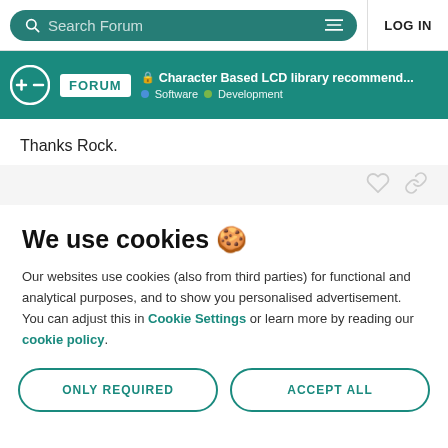Search Forum   LOG IN
🔒 Character Based LCD library recommend... Software Development
Thanks Rock.
We use cookies 🍪
Our websites use cookies (also from third parties) for functional and analytical purposes, and to show you personalised advertisement. You can adjust this in Cookie Settings or learn more by reading our cookie policy.
ONLY REQUIRED
ACCEPT ALL